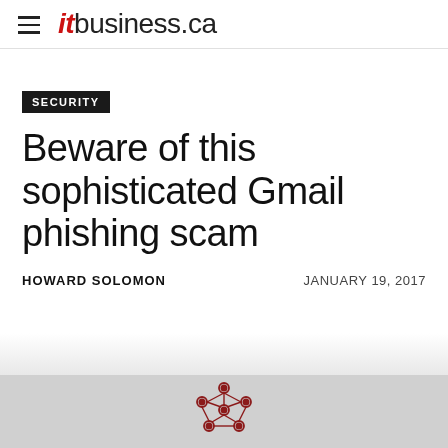itbusiness.ca
SECURITY
Beware of this sophisticated Gmail phishing scam
HOWARD SOLOMON    JANUARY 19, 2017
[Figure (logo): Network/graph icon logo in dark red at bottom of page]